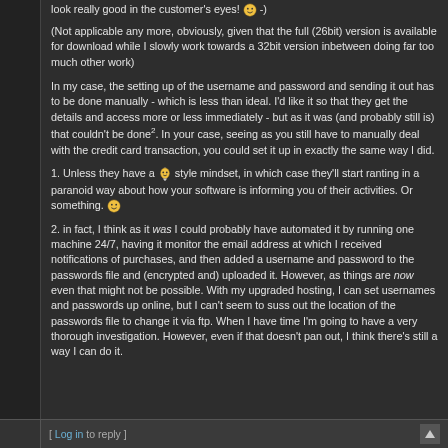look really good in the customer's eyes! 🙂 -)
(Not applicable any more, obviously, given that the full (26bit) version is available for download while I slowly work towards a 32bit version inbetween doing far too much other work)
In my case, the setting up of the username and password and sending it out has to be done manually - which is less than ideal. I'd like it so that they get the details and access more or less immediately - but as it was (and probably still is) that couldn't be done². In your case, seeing as you still have to manually deal with the credit card transaction, you could set it up in exactly the same way I did.
1. Unless they have a 🧞 style mindset, in which case they'll start ranting in a paranoid way about how your software is informing you of their activities. Or something. 🙂
2. in fact, I think as it was I could probably have automated it by running one machine 24/7, having it monitor the email address at which I received notifications of purchases, and then added a username and password to the passwords file and (encrypted and) uploaded it. However, as things are now even that might not be possible. With my upgraded hosting, I can set usernames and passwords up online, but I can't seem to suss out the location of the passwords file to change it via ftp. When I have time I'm going to have a very thorough investigation. However, even if that doesn't pan out, I think there's still a way I can do it.
[ Log in to reply ]